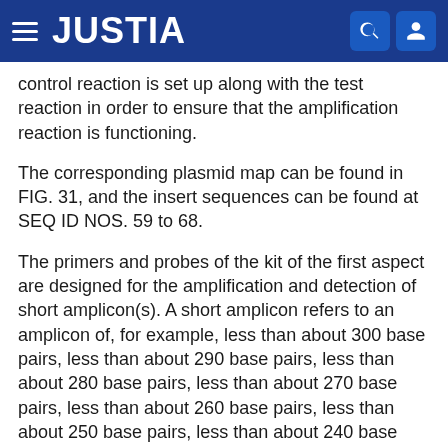JUSTIA
control reaction is set up along with the test reaction in order to ensure that the amplification reaction is functioning.
The corresponding plasmid map can be found in FIG. 31, and the insert sequences can be found at SEQ ID NOS. 59 to 68.
The primers and probes of the kit of the first aspect are designed for the amplification and detection of short amplicon(s). A short amplicon refers to an amplicon of, for example, less than about 300 base pairs, less than about 290 base pairs, less than about 280 base pairs, less than about 270 base pairs, less than about 260 base pairs, less than about 250 base pairs, less than about 240 base pairs, less than about 230 base pairs, less than about 220 base pairs, less than about 210 base pairs, less than about 200 base pairs, less than about 190 base